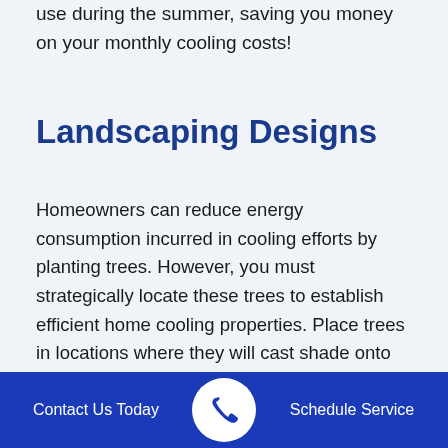use during the summer, saving you money on your monthly cooling costs!
Landscaping Designs
Homeowners can reduce energy consumption incurred in cooling efforts by planting trees. However, you must strategically locate these trees to establish efficient home cooling properties. Place trees in locations where they will cast shade onto your property! Experts recommend planting deciduous trees, since they are full during summer, reducing sun rays penetration, and lose their leaves during the winter months, allowing for light to come through and heat your home when you need it. This will naturally lower your home's base temperature, making your cooling efforts easier
Contact Us Today | Schedule Service